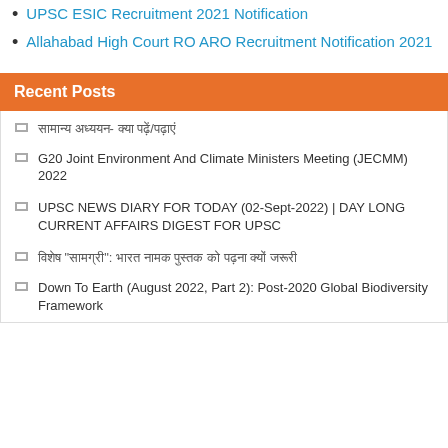UPSC ESIC Recruitment 2021 Notification
Allahabad High Court RO ARO Recruitment Notification 2021
Recent Posts
सामान्य अध्ययन- क्या पढ़ें/पढ़ाऊ
G20 Joint Environment And Climate Ministers Meeting (JECMM) 2022
UPSC NEWS DIARY FOR TODAY (02-Sept-2022) | DAY LONG CURRENT AFFAIRS DIGEST FOR UPSC
विशेष “सामग्री”: भारत नामक पुस्तक को पढ़ना क्यों जरूरी
Down To Earth (August 2022, Part 2): Post-2020 Global Biodiversity Framework